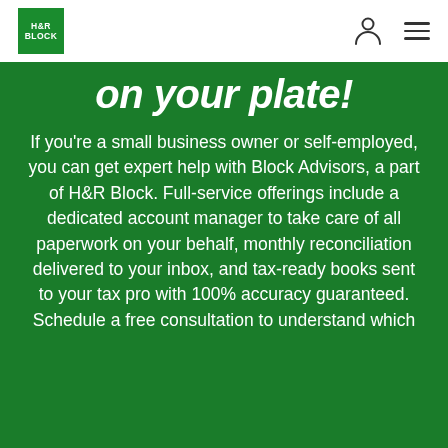[Figure (logo): H&R Block green square logo with white text]
on your plate!
If you're a small business owner or self-employed, you can get expert help with Block Advisors, a part of H&R Block. Full-service offerings include a dedicated account manager to take care of all paperwork on your behalf, monthly reconciliation delivered to your inbox, and tax-ready books sent to your tax pro with 100% accuracy guaranteed. Schedule a free consultation to understand which